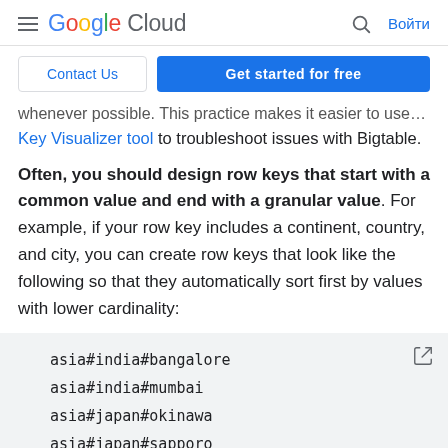Google Cloud | Войти
Contact Us  Get started for free
whenever possible. This practice makes it easier to use the Key Visualizer tool to troubleshoot issues with Bigtable.
Often, you should design row keys that start with a common value and end with a granular value. For example, if your row key includes a continent, country, and city, you can create row keys that look like the following so that they automatically sort first by values with lower cardinality:
[Figure (screenshot): Code block showing row key examples: asia#india#bangalore, asia#india#mumbai, asia#japan#okinawa, asia#japan#sapporo, southamerica#bolivia#cochabamba]